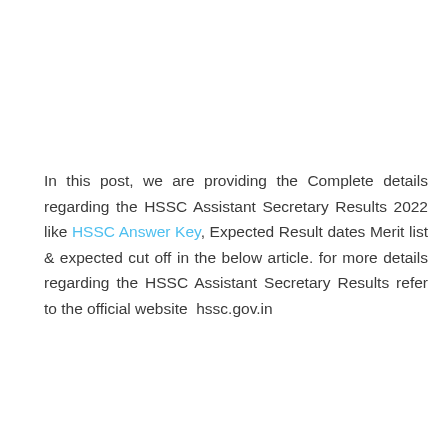In this post, we are providing the Complete details regarding the HSSC Assistant Secretary Results 2022 like HSSC Answer Key, Expected Result dates Merit list & expected cut off in the below article. for more details regarding the HSSC Assistant Secretary Results refer to the official website  hssc.gov.in